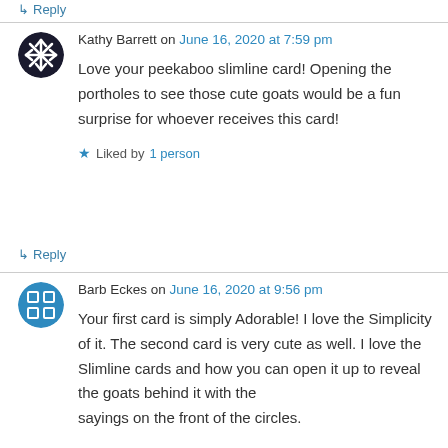↳ Reply
Kathy Barrett on June 16, 2020 at 7:59 pm
Love your peekaboo slimline card! Opening the portholes to see those cute goats would be a fun surprise for whoever receives this card!
★ Liked by 1 person
↳ Reply
Barb Eckes on June 16, 2020 at 9:56 pm
Your first card is simply Adorable! I love the Simplicity of it. The second card is very cute as well. I love the Slimline cards and how you can open it up to reveal the goats behind it with the sayings on the front of the circles.